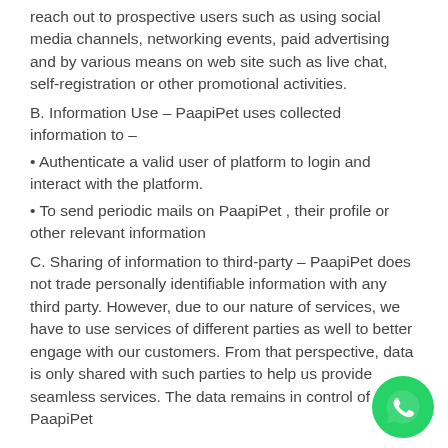reach out to prospective users such as using social media channels, networking events, paid advertising and by various means on web site such as live chat, self-registration or other promotional activities.
B. Information Use – PaapiPet uses collected information to –
• Authenticate a valid user of platform to login and interact with the platform.
• To send periodic mails on PaapiPet , their profile or other relevant information
C. Sharing of information to third-party – PaapiPet does not trade personally identifiable information with any third party. However, due to our nature of services, we have to use services of different parties as well to better engage with our customers. From that perspective, data is only shared with such parties to help us provide seamless services. The data remains in control of PaapiPet
[Figure (logo): WhatsApp floating action button (green circle with white phone icon)]